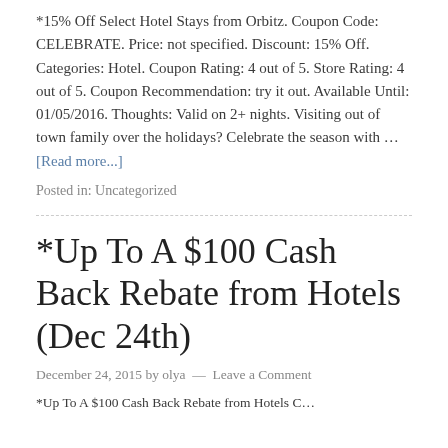*15% Off Select Hotel Stays from Orbitz. Coupon Code: CELEBRATE. Price: not specified. Discount: 15% Off. Categories: Hotel. Coupon Rating: 4 out of 5. Store Rating: 4 out of 5. Coupon Recommendation: try it out. Available Until: 01/05/2016. Thoughts: Valid on 2+ nights. Visiting out of town family over the holidays? Celebrate the season with … [Read more...]
Posted in: Uncategorized
*Up To A $100 Cash Back Rebate from Hotels (Dec 24th)
December 24, 2015 by olya — Leave a Comment
*Up To A $100 Cash Back Rebate from Hotels C…